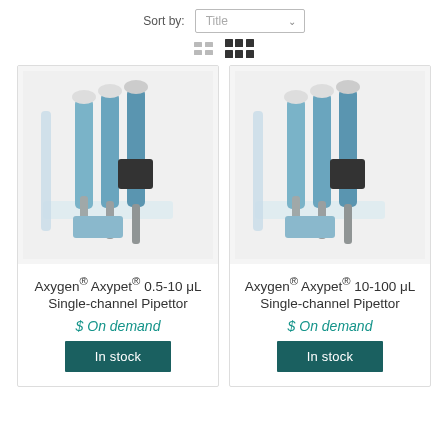Sort by: Title
[Figure (screenshot): View toggle icons: list view and grid view]
[Figure (photo): Photo of Axygen Axypet pipettors on a stand]
Axygen® Axypet® 0.5-10 μL Single-channel Pipettor
$ On demand
In stock
[Figure (photo): Photo of Axygen Axypet pipettors on a stand]
Axygen® Axypet® 10-100 μL Single-channel Pipettor
$ On demand
In stock